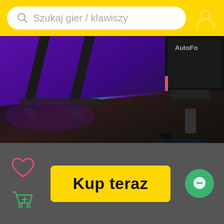Szukaj gier / klawiszy
[Figure (photo): Close-up photo of a gaming chair base and desk legs on a dark wood floor with purple/blue ambient lighting in a gaming room setup. AutoFull brand visible on the chair.]
Kup teraz
[Figure (other): Heart icon (wishlist), shopping cart with plus icon, and green chat bubble icon — UI controls for an e-commerce mobile app]